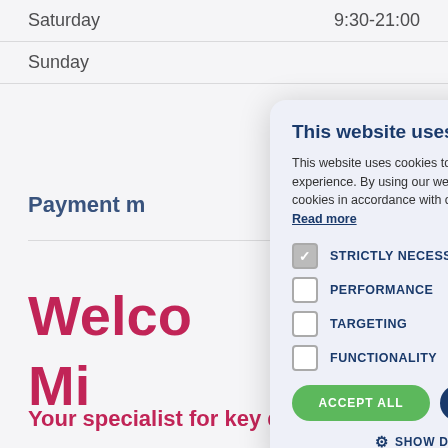| Day | Hours |
| --- | --- |
| Saturday | 9:30-21:00 |
| Sunday |  |
Payment m
Welco
Mi
Your specialist for key duplication &
[Figure (screenshot): Cookie consent modal overlay with title 'This website uses cookies', body text about cookie policy, checkboxes for STRICTLY NECESSARY (checked), PERFORMANCE, TARGETING, FUNCTIONALITY, and buttons ACCEPT ALL (green) and DECLINE ALL (dark blue), plus SHOW DETAILS link with gear icon.]